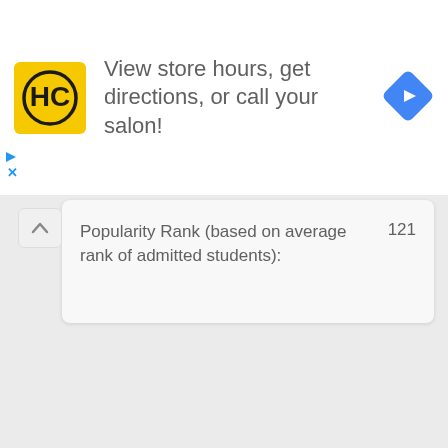[Figure (logo): Haircuts advertisement banner with HC logo and navigation icon. Text: View store hours, get directions, or call your salon!]
| Popularity Rank (based on average rank of admitted students): | 121 |